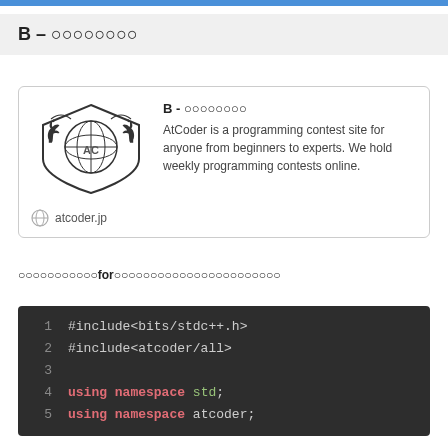B – ○○○○○○○○
[Figure (screenshot): AtCoder contest card with logo showing shield with globe and two rearing horses, title 'B - ○○○○○○○○', description 'AtCoder is a programming contest site for anyone from beginners to experts. We hold weekly programming contests online.', and link 'atcoder.jp']
○○○○○○○○○○○forで○○○○○○○○○○○○○○○○○○○○○○○
#include<bits/stdc++.h>
#include<atcoder/all>

using namespace std;
using namespace atcoder;